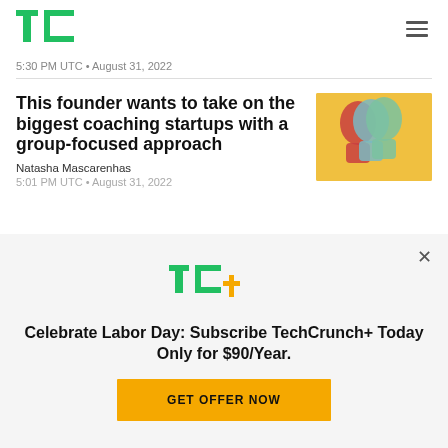TechCrunch
5:30 PM UTC • August 31, 2022
This founder wants to take on the biggest coaching startups with a group-focused approach
[Figure (illustration): Colorful abstract illustration of overlapping human head silhouettes on yellow background]
Natasha Mascarenhas
5:01 PM UTC • August 31, 2022
[Figure (logo): TechCrunch+ (TC+) logo in green and orange]
Celebrate Labor Day: Subscribe TechCrunch+ Today Only for $90/Year.
GET OFFER NOW